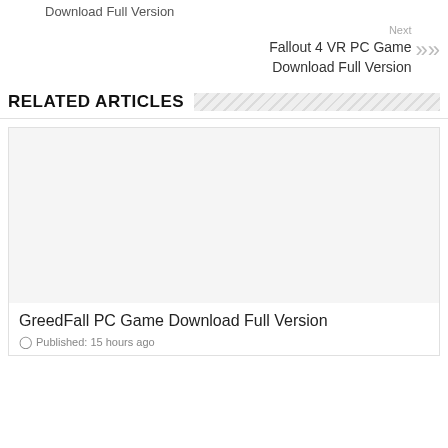Download Full Version
Next
Fallout 4 VR PC Game Download Full Version
RELATED ARTICLES
[Figure (photo): Article thumbnail image placeholder for GreedFall PC Game Download Full Version]
GreedFall PC Game Download Full Version
Published: 15 hours ago